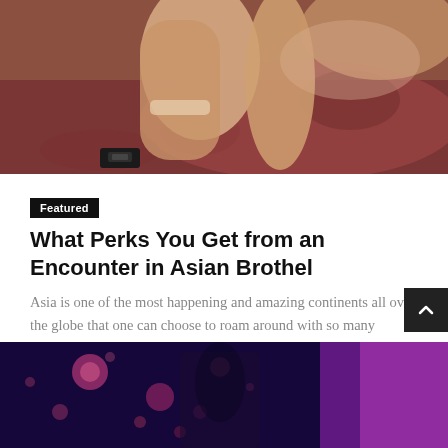[Figure (photo): Close-up photo of a woman in beige/nude lingerie lying on a pinkish-red floral surface, showing legs with stockings and high heels.]
Featured
What Perks You Get from an Encounter in Asian Brothel
Asia is one of the most happening and amazing continents all over the globe that one can choose to roam around with so many erotic...
[Figure (photo): Nightclub or entertainment venue scene with bokeh lights in pink/magenta tones, dark background with colorful blurred circles.]